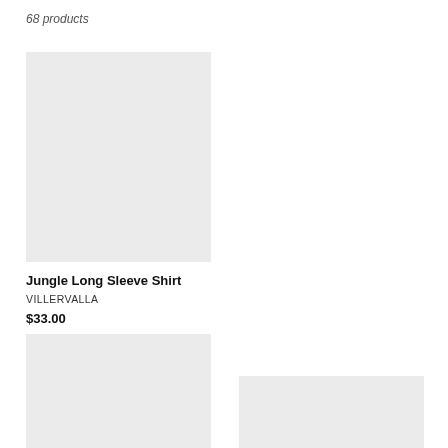68 products
[Figure (photo): Product image placeholder for Jungle Long Sleeve Shirt - light gray rectangle]
Jungle Long Sleeve Shirt
VILLERVALLA
$33.00
[Figure (photo): Product image placeholder for Pumpkin Velour Long Sleeve Shirt - light gray rectangle]
Pumpkin Velour Long Sleeve Shirt
DUNS
$35.00
SOLD OUT
[Figure (photo): Product image placeholder bottom left - light gray rectangle]
[Figure (photo): Product image placeholder bottom right - light gray rectangle]